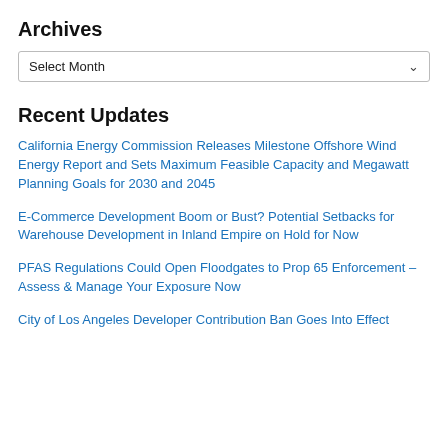Archives
Select Month
Recent Updates
California Energy Commission Releases Milestone Offshore Wind Energy Report and Sets Maximum Feasible Capacity and Megawatt Planning Goals for 2030 and 2045
E-Commerce Development Boom or Bust? Potential Setbacks for Warehouse Development in Inland Empire on Hold for Now
PFAS Regulations Could Open Floodgates to Prop 65 Enforcement – Assess & Manage Your Exposure Now
City of Los Angeles Developer Contribution Ban Goes Into Effect